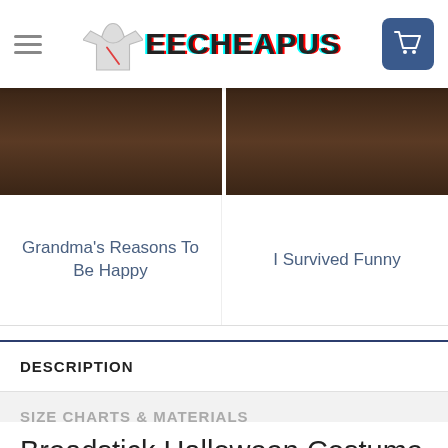TEECHEAPUS
[Figure (photo): Two product t-shirt images side by side on dark wood background]
Grandma's Reasons To Be Happy
I Survived Funny
DESCRIPTION
SIZE CHARTS & MATERIALS
Breadstick Halloween Costume Infomation